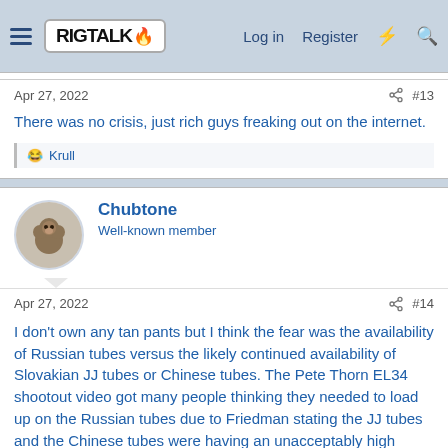RIG TALK — Log in | Register
Apr 27, 2022  #13
There was no crisis, just rich guys freaking out on the internet.
😂 Krull
Chubtone
Well-known member
Apr 27, 2022  #14
I don't own any tan pants but I think the fear was the availability of Russian tubes versus the likely continued availability of Slovakian JJ tubes or Chinese tubes. The Pete Thorn EL34 shootout video got many people thinking they needed to load up on the Russian tubes due to Friedman stating the JJ tubes and the Chinese tubes were having an unacceptably high failure rate. I think for this reason many people were looking at the